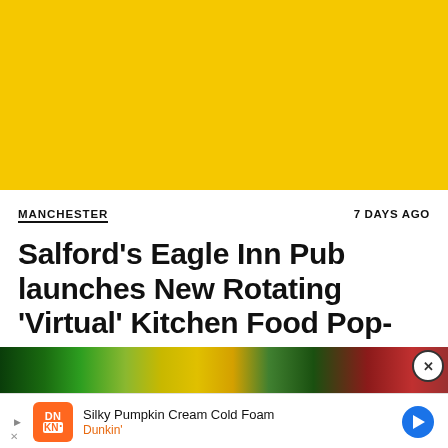[Figure (illustration): Solid yellow/gold banner image filling the top portion of the page]
MANCHESTER
7 DAYS AGO
Salford's Eagle Inn Pub launches New Rotating 'Virtual' Kitchen Food Pop-Up
[Figure (photo): Partial view of a colorful image strip showing green and red tones, partially obscured by an advertisement overlay]
Silky Pumpkin Cream Cold Foam
Dunkin'